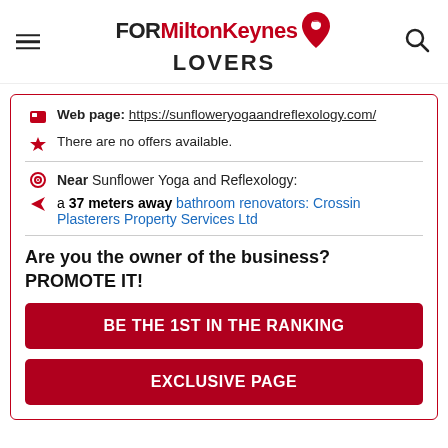FOR Milton Keynes LOVERS
Web page: https://sunfloweryogaandreflexology.com/
There are no offers available.
Near Sunflower Yoga and Reflexology:
a 37 meters away bathroom renovators: Crossin Plasterers Property Services Ltd
Are you the owner of the business? PROMOTE IT!
BE THE 1ST IN THE RANKING
EXCLUSIVE PAGE